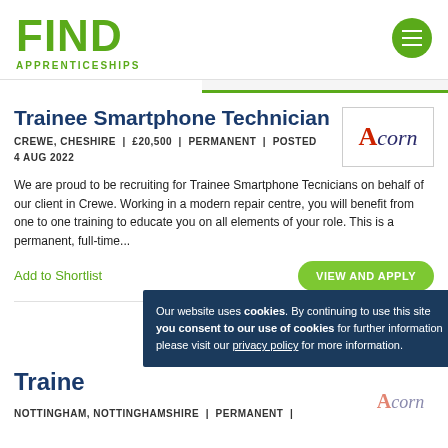[Figure (logo): FIND APPRENTICESHIPS logo in green with hamburger menu button]
Trainee Smartphone Technician
CREWE, CHESHIRE | £20,500 | PERMANENT | POSTED 4 AUG 2022
We are proud to be recruiting for Trainee Smartphone Tecnicians on behalf of our client in Crewe. Working in a modern repair centre, you will benefit from one to one training to educate you on all elements of your role. This is a permanent, full-time...
Add to Shortlist
VIEW AND APPLY
Our website uses cookies. By continuing to use this site you consent to our use of cookies for further information please visit our privacy policy for more information.
Traine
NOTTINGHAM, NOTTINGHAMSHIRE | PERMANENT |